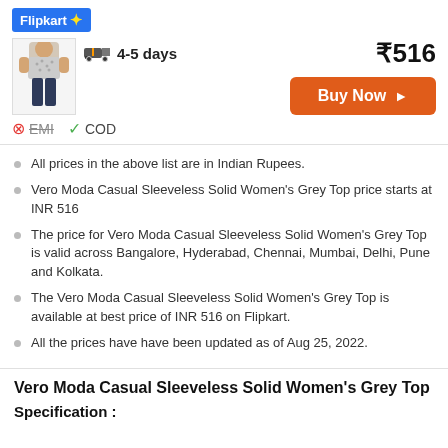[Figure (logo): Flipkart logo with blue background and yellow plus sign]
[Figure (photo): Product photo of a woman wearing Vero Moda Casual Sleeveless Solid Women's Grey Top]
₹516
4-5 days
Buy Now
EMI  COD
All prices in the above list are in Indian Rupees.
Vero Moda Casual Sleeveless Solid Women's Grey Top price starts at INR 516
The price for Vero Moda Casual Sleeveless Solid Women's Grey Top is valid across Bangalore, Hyderabad, Chennai, Mumbai, Delhi, Pune and Kolkata.
The Vero Moda Casual Sleeveless Solid Women's Grey Top is available at best price of INR 516 on Flipkart.
All the prices have have been updated as of Aug 25, 2022.
Vero Moda Casual Sleeveless Solid Women's Grey Top
Specification :